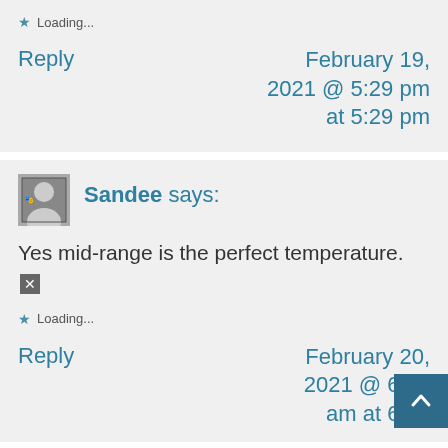Loading...
Reply
February 19, 2021 @ 5:29 pm at 5:29 pm
Sandee says:
Yes mid-range is the perfect temperature. 🔲
Loading...
Reply
February 20, 2021 @ 6:14 am at 6:14